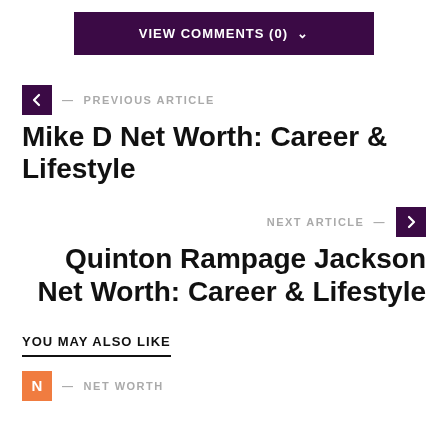VIEW COMMENTS (0) ˅
< — PREVIOUS ARTICLE
Mike D Net Worth: Career & Lifestyle
NEXT ARTICLE — >
Quinton Rampage Jackson Net Worth: Career & Lifestyle
YOU MAY ALSO LIKE
N — NET WORTH